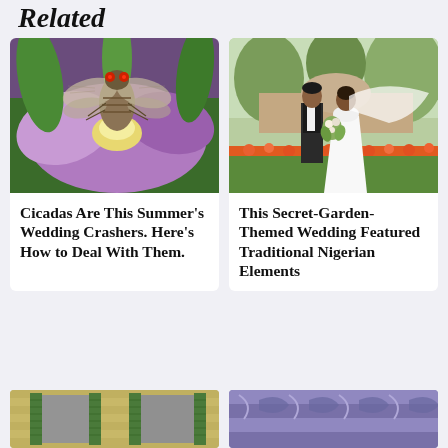Related
[Figure (photo): Close-up of a cicada with red eyes perched on a purple iris flower]
Cicadas Are This Summer's Wedding Crashers. Here's How to Deal With Them.
[Figure (photo): Bride and groom standing in a garden with colorful flowers, veil blowing in the wind]
This Secret-Garden-Themed Wedding Featured Traditional Nigerian Elements
[Figure (photo): Partial view of a building exterior with green shutters]
[Figure (photo): Partial view of a purple/lavender patterned card or design element]